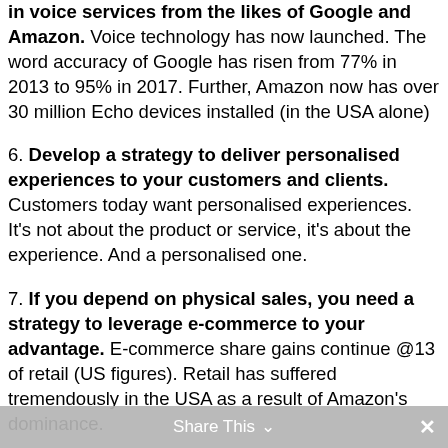…There are big opportunities to leverage the huge growth in voice services from the likes of Google and Amazon. Voice technology has now launched. The word accuracy of Google has risen from 77% in 2013 to 95% in 2017. Further, Amazon now has over 30 million Echo devices installed (in the USA alone)
6. Develop a strategy to deliver personalised experiences to your customers and clients. Customers today want personalised experiences. It's not about the product or service, it's about the experience. And a personalised one.
7. If you depend on physical sales, you need a strategy to leverage e-commerce to your advantage. E-commerce share gains continue @13 of retail (US figures). Retail has suffered tremendously in the USA as a result of Amazon's dominance.
8. It must be easy for your customers/clients to do business with you in a smooth and seamless manner. The customer purchasing process increasingly involves a mobile
Share This